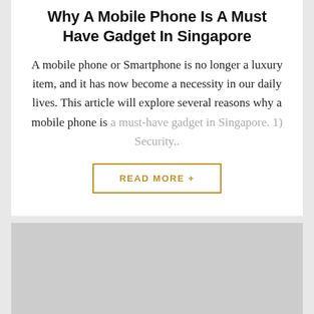Why A Mobile Phone Is A Must Have Gadget In Singapore
A mobile phone or Smartphone is no longer a luxury item, and it has now become a necessity in our daily lives. This article will explore several reasons why a mobile phone is a must-have gadget in Singapore. 1) Security..
READ MORE +
[Figure (photo): Gray placeholder image block at the bottom of the page]